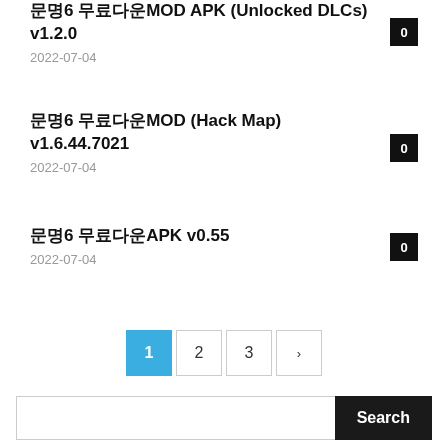문명6 무료다운MOD APK (Unlocked DLCs) v1.2.0 — 2022-07-04
문명6 무료다운MOD (Hack Map) v1.6.44.7021 — 2022-07-04
문명6 무료다운APK v0.55 — 2022-07-04
Pagination: 1 2 3 →
Search